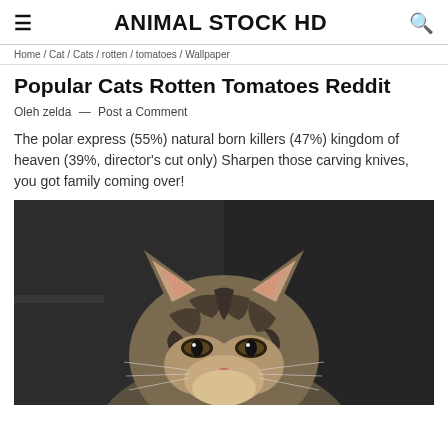ANIMAL STOCK HD
Home / Cat / Cats / rotten / tomatoes / Wallpaper
Popular Cats Rotten Tomatoes Reddit
Oleh zelda — Post a Comment
The polar express (55%) natural born killers (47%) kingdom of heaven (39%, director's cut only) Sharpen those carving knives, you got family coming over!
[Figure (photo): Close-up photo of a tabby cat's face and ears peeking up from below, viewed from slightly above, against a dark background]